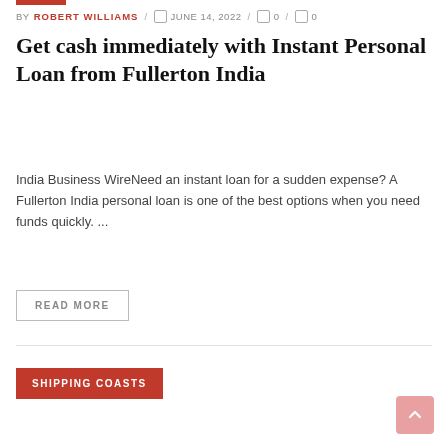BY ROBERT WILLIAMS / JUNE 14, 2022 / 0 / 0
Get cash immediately with Instant Personal Loan from Fullerton India
India Business WireNeed an instant loan for a sudden expense? A Fullerton India personal loan is one of the best options when you need funds quickly. ...
READ MORE
SHIPPING COASTS